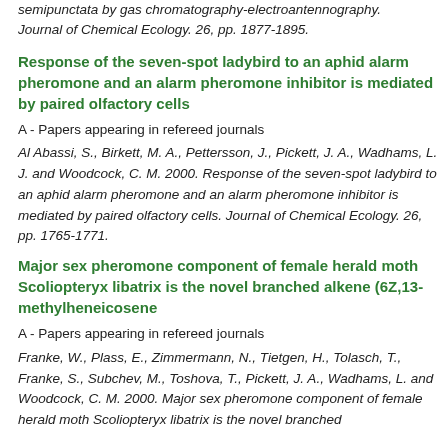semipunctata by gas chromatography-electroantennography. Journal of Chemical Ecology. 26, pp. 1877-1895.
Response of the seven-spot ladybird to an aphid alarm pheromone and an alarm pheromone inhibitor is mediated by paired olfactory cells
A - Papers appearing in refereed journals
Al Abassi, S., Birkett, M. A., Pettersson, J., Pickett, J. A., Wadhams, L. J. and Woodcock, C. M. 2000. Response of the seven-spot ladybird to an aphid alarm pheromone and an alarm pheromone inhibitor is mediated by paired olfactory cells. Journal of Chemical Ecology. 26, pp. 1765-1771.
Major sex pheromone component of female herald moth Scoliopteryx libatrix is the novel branched alkene (6Z,13-methylheneicosene
A - Papers appearing in refereed journals
Franke, W., Plass, E., Zimmermann, N., Tietgen, H., Tolasch, T., Franke, S., Subchev, M., Toshova, T., Pickett, J. A., Wadhams, L. and Woodcock, C. M. 2000. Major sex pheromone component of female herald moth Scoliopteryx libatrix is the novel branched